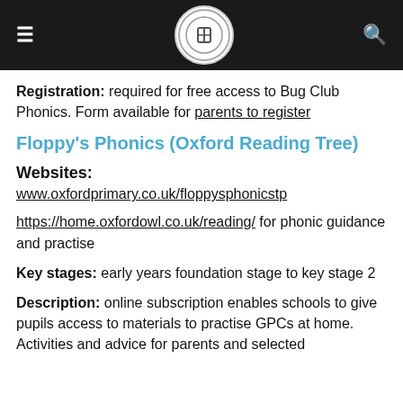≡ [logo] 🔍
Registration: required for free access to Bug Club Phonics. Form available for parents to register
Floppy's Phonics (Oxford Reading Tree)
Websites:
www.oxfordprimary.co.uk/floppysphonicstp
https://home.oxfordowl.co.uk/reading/ for phonic guidance and practise
Key stages: early years foundation stage to key stage 2
Description: online subscription enables schools to give pupils access to materials to practise GPCs at home. Activities and advice for parents and selected